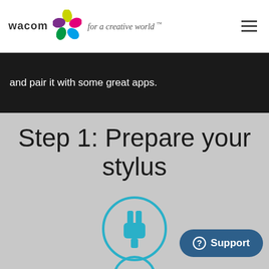wacom for a creative world™
and pair it with some great apps.
Step 1: Prepare your stylus
[Figure (illustration): Teal/cyan plug icon inside a circular teal outline ring, on gray background]
Plug in your stylus (USB…
[Figure (illustration): Partial teal circle visible at bottom of page]
Support button with question mark icon